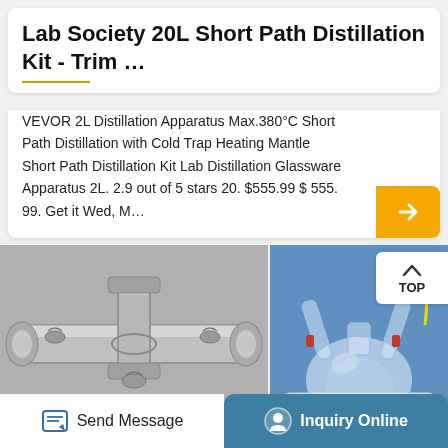Lab Society 20L Short Path Distillation Kit - Trim …
VEVOR 2L Distillation Apparatus Max.380°C Short Path Distillation with Cold Trap Heating Mantle Short Path Distillation Kit Lab Distillation Glassware Apparatus 2L. 2.9 out of 5 stars 20. $555.99 $ 555. 99. Get it Wed, M…
[Figure (photo): Metal KF-25 three-ways flange fitting, stainless steel, vacuum component]
[Figure (photo): Glass boiling flask in a heating mantle with glass distillation head attachments and yellow/red tubing]
KF 25 Three ways flange
Boiling flask
Send Message
Inquiry Online